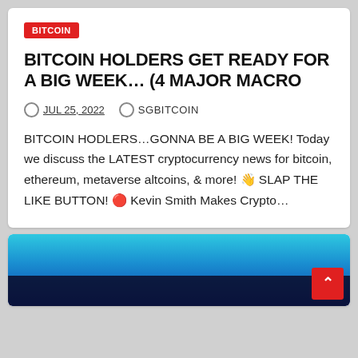BITCOIN
BITCOIN HOLDERS GET READY FOR A BIG WEEK... (4 MAJOR MACRO
JUL 25, 2022   SGBITCOIN
BITCOIN HODLERS...GONNA BE A BIG WEEK! Today we discuss the LATEST cryptocurrency news for bitcoin, ethereum, metaverse altcoins, & more! 👋 SLAP THE LIKE BUTTON! 🔴 Kevin Smith Makes Crypto…
[Figure (screenshot): Partial thumbnail image showing a blue gradient background with dark colored logo/text bar at the bottom, and a red scroll-to-top button in the bottom right corner.]